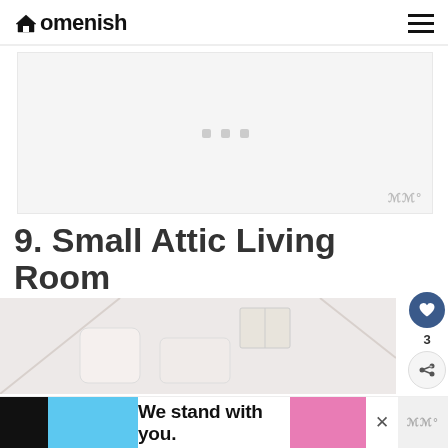Homenish
[Figure (other): Advertisement placeholder with three small square dots centered on a light gray background, with a Mediavine badge in the bottom right corner.]
9. Small Attic Living Room
[Figure (photo): Partial photo of a small attic living room with white/light colored furniture and slanted ceiling walls visible.]
We stand with you.